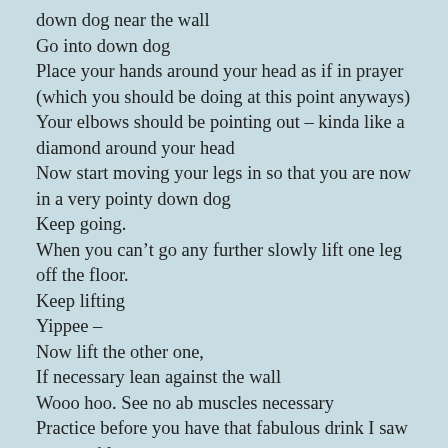down dog near the wall
Go into down dog
Place your hands around your head as if in prayer (which you should be doing at this point anyways)
Your elbows should be pointing out – kinda like a diamond around your head
Now start moving your legs in so that you are now in a very pointy down dog
Keep going.
When you can't go any further slowly lift one leg off the floor.
Keep lifting
Yippee –
Now lift the other one,
If necessary lean against the wall
Wooo hoo. See no ab muscles necessary
Practice before you have that fabulous drink I saw on your blog.